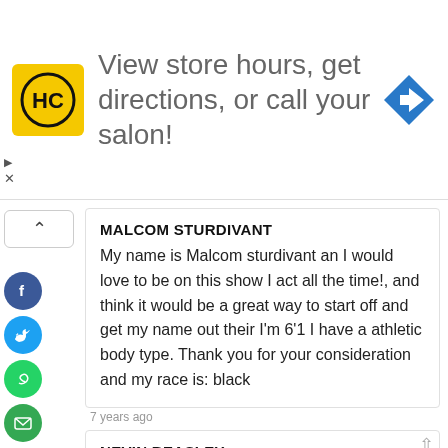[Figure (infographic): Advertisement banner with HC logo (yellow square with black HC letters), text 'View store hours, get directions, or call your salon!', and a blue navigation arrow icon on the right.]
MALCOM STURDIVANT
My name is Malcom sturdivant an I would love to be on this show I act all the time!, and think it would be a great way to start off and get my name out their I'm 6'1 I have a athletic body type. Thank you for your consideration and my race is: black
7 years ago
NEVIN BEASLEY